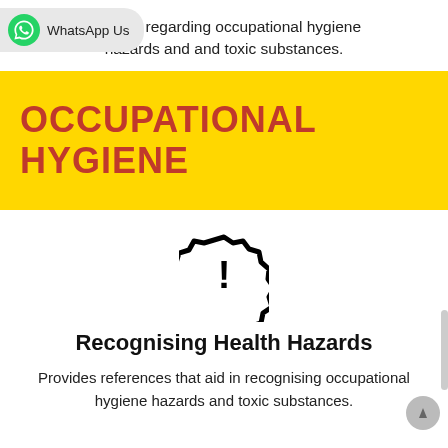gulation regarding occupational hygiene hazards and and toxic substances.
OCCUPATIONAL HYGIENE
[Figure (illustration): A badge/shield icon with an exclamation mark inside, rendered in black outline.]
Recognising Health Hazards
Provides references that aid in recognising occupational hygiene hazards and toxic substances.